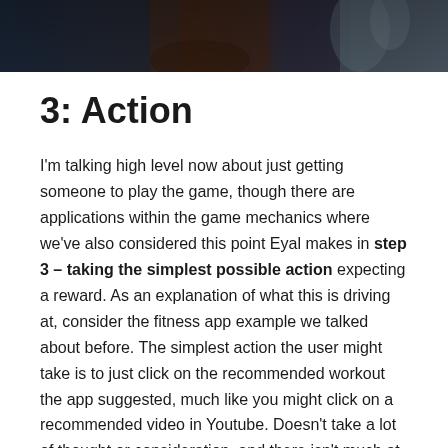[Figure (photo): Dark toned photo strip at top of page showing partial figures against a dark blue/brown background]
3: Action
I'm talking high level now about just getting someone to play the game, though there are applications within the game mechanics where we've also considered this point Eyal makes in step 3 – taking the simplest possible action expecting a reward. As an explanation of what this is driving at, consider the fitness app example we talked about before. The simplest action the user might take is to just click on the recommended workout the app suggested, much like you might click on a recommended video in Youtube. Doesn't take a lot of thought or consideration, and there isn't much at stake